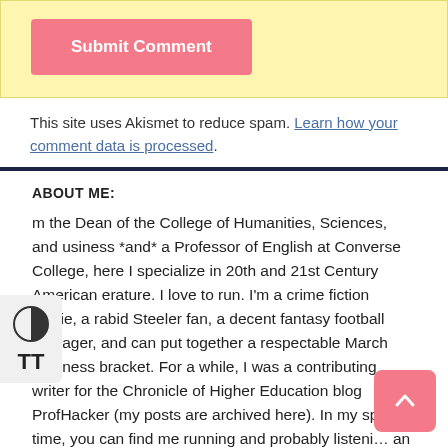[Figure (other): Submit Comment button — pink/salmon rounded rectangle button with white bold text]
This site uses Akismet to reduce spam. Learn how your comment data is processed.
ABOUT ME:
I'm the Dean of the College of Humanities, Sciences, and Business *and* a Professor of English at Converse College, where I specialize in 20th and 21st Century American Literature. I love to run. I'm a crime fiction junkie, a rabid Steeler fan, a decent fantasy football manager, and can put together a respectable March Madness bracket. For a while, I was a contributing writer for the Chronicle of Higher Education blog ProfHacker (my posts are archived here). In my spare time, you can find me running and probably listening to an audiobook, walking my dog, feeding a cat or two, or, just maybe, taking a nap.